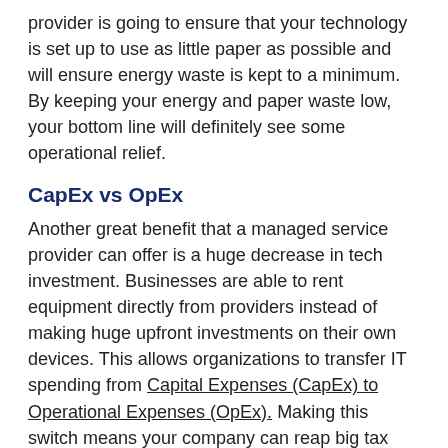provider is going to ensure that your technology is set up to use as little paper as possible and will ensure energy waste is kept to a minimum. By keeping your energy and paper waste low, your bottom line will definitely see some operational relief.
CapEx vs OpEx
Another great benefit that a managed service provider can offer is a huge decrease in tech investment. Businesses are able to rent equipment directly from providers instead of making huge upfront investments on their own devices. This allows organizations to transfer IT spending from Capital Expenses (CapEx) to Operational Expenses (OpEx). Making this switch means your company can reap big tax deductions to boost ROI.